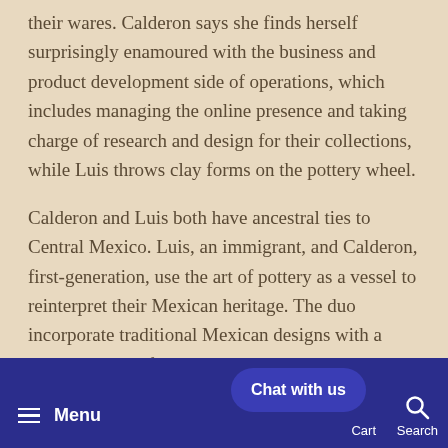their wares. Calderon says she finds herself surprisingly enamoured with the business and product development side of operations, which includes managing the online presence and taking charge of research and design for their collections, while Luis throws clay forms on the pottery wheel.
Calderon and Luis both have ancestral ties to Central Mexico. Luis, an immigrant, and Calderon, first-generation, use the art of pottery as a vessel to reinterpret their Mexican heritage. The duo incorporate traditional Mexican designs with a minimal, rustic flair into their handmade ceramic wares. A portion of sales proceeds go to Fundación En Vía, a nonprofit supporting entrepreneurial women in Oaxaca, and they recently launched a fundraiser donating proce...
Menu  Chat with us  Cart  Search